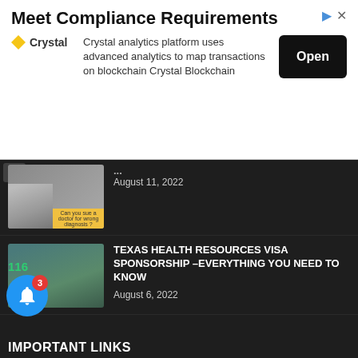[Figure (screenshot): Advertisement banner for Crystal analytics platform with Meet Compliance Requirements heading, description text, logo, and Open button]
[Figure (photo): Partial medical article thumbnail showing doctor examining patient with yellow caption bar]
August 11, 2022
[Figure (photo): Group of medical professionals in scrubs in a hospital setting]
TEXAS HEALTH RESOURCES VISA SPONSORSHIP –EVERYTHING YOU NEED TO KNOW
August 6, 2022
[Figure (photo): Teenager on yellow background holding money fans with excited expression]
Best Ways to Make Money Online as a Teenager | Complete Guide
August 3, 2022
IMPORTANT LINKS